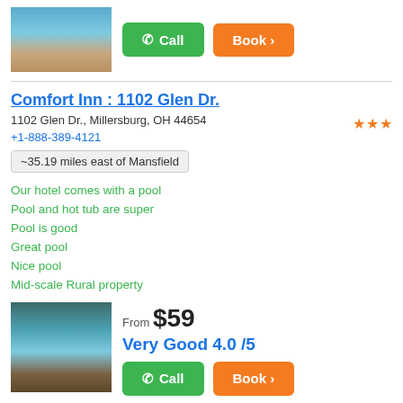[Figure (photo): Hotel pool area photo at top of page]
Call  Book >
Comfort Inn : 1102 Glen Dr.
1102 Glen Dr., Millersburg, OH 44654
+1-888-389-4121
~35.19 miles east of Mansfield
Our hotel comes with a pool
Pool and hot tub are super
Pool is good
Great pool
Nice pool
Mid-scale Rural property
[Figure (photo): Indoor hotel pool with lights photo]
From $59
Very Good 4.0 /5
Call  Book >
Best Western Norwalk